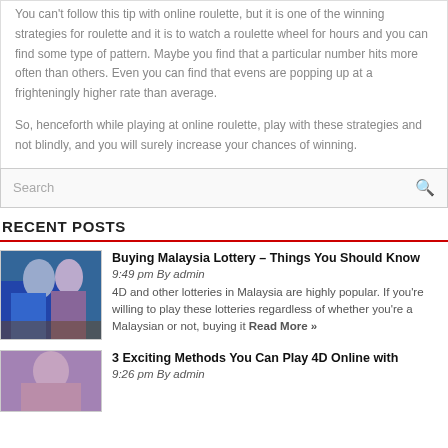You can't follow this tip with online roulette, but it is one of the winning strategies for roulette and it is to watch a roulette wheel for hours and you can find some type of pattern. Maybe you find that a particular number hits more often than others. Even you can find that evens are popping up at a frighteningly higher rate than average.
So, henceforth while playing at online roulette, play with these strategies and not blindly, and you will surely increase your chances of winning.
[Figure (screenshot): Search bar with placeholder text 'Search' and a search icon on the right]
RECENT POSTS
[Figure (photo): Thumbnail image of two women in blue dresses]
Buying Malaysia Lottery – Things You Should Know
9:49 pm By admin
4D and other lotteries in Malaysia are highly popular. If you're willing to play these lotteries regardless of whether you're a Malaysian or not, buying it Read More »
[Figure (photo): Thumbnail image of a woman]
3 Exciting Methods You Can Play 4D Online with
9:26 pm By admin